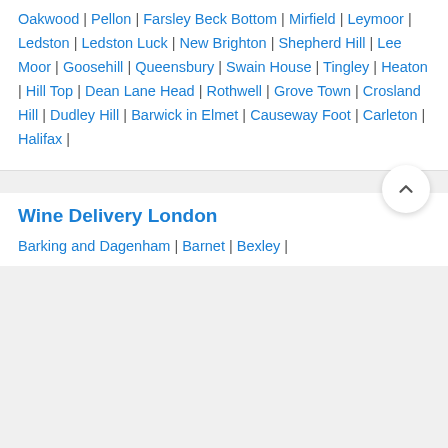Oakwood | Pellon | Farsley Beck Bottom | Mirfield | Leymoor | Ledston | Ledston Luck | New Brighton | Shepherd Hill | Lee Moor | Goosehill | Queensbury | Swain House | Tingley | Heaton | Hill Top | Dean Lane Head | Rothwell | Grove Town | Crosland Hill | Dudley Hill | Barwick in Elmet | Causeway Foot | Carleton | Halifax |
Wine Delivery London
Barking and Dagenham | Barnet | Bexley |